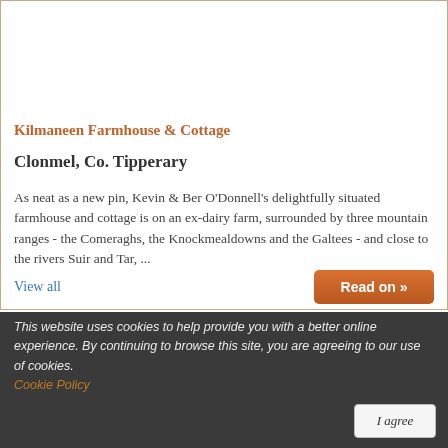[Figure (photo): Exterior photo of Kilmaneen Farmhouse showing green ivy-covered building with garden umbrella]
Kilmaneen Farmhouse & Cottage
Clonmel, Co. Tipperary
As neat as a new pin, Kevin & Ber O'Donnell's delightfully situated farmhouse and cottage is on an ex-dairy farm, surrounded by three mountain ranges - the Comeraghs, the Knockmealdowns and the Galtees - and close to the rivers Suir and Tar, ...
View all
Read on »
This website uses cookies to help provide you with a better online experience. By continuing to browse this site, you are agreeing to our use of cookies.
Cookie Policy
I agree